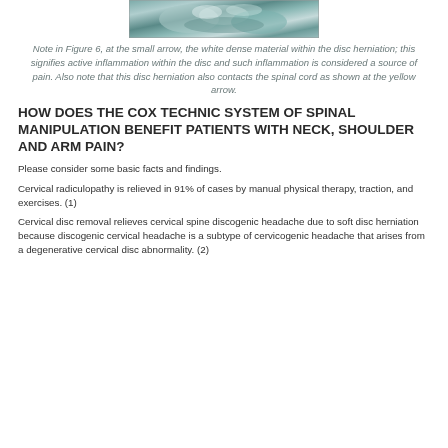[Figure (photo): MRI scan image showing disc herniation with white dense material at small arrow indicating active inflammation, and contact with spinal cord at yellow arrow.]
Note in Figure 6, at the small arrow, the white dense material within the disc herniation; this signifies active inflammation within the disc and such inflammation is considered a source of pain. Also note that this disc herniation also contacts the spinal cord as shown at the yellow arrow.
HOW DOES THE COX TECHNIC SYSTEM OF SPINAL MANIPULATION BENEFIT PATIENTS WITH NECK, SHOULDER AND ARM PAIN?
Please consider some basic facts and findings.
Cervical radiculopathy is relieved in 91% of cases by manual physical therapy, traction, and exercises. (1)
Cervical disc removal relieves cervical spine discogenic headache due to soft disc herniation because discogenic cervical headache is a subtype of cervicogenic headache that arises from a degenerative cervical disc abnormality. (2)